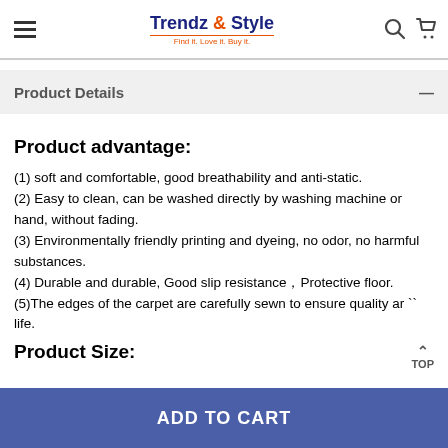Trendz & Style — Find it. Love it. Buy it.
Product Details
Product advantage:
(1) soft and comfortable, good breathability and anti-static.
(2) Easy to clean, can be washed directly by washing machine or hand, without fading.
(3) Environmentally friendly printing and dyeing, no odor, no harmful substances.
(4) Durable and durable, Good slip resistance，Protective floor.
(5)The edges of the carpet are carefully sewn to ensure quality and life.
Product Size:
ADD TO CART